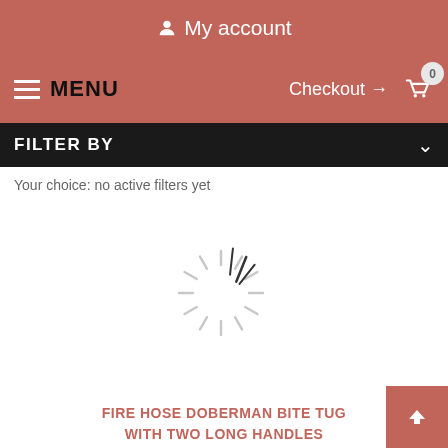My account
MENU  Checkout → 0
FILTER BY
Your choice: no active filters yet
[Figure (illustration): Loading spinner / starburst animation graphic in light gray]
FIRE HOSE DOBERMAN BITE TUG WITH TWO LONG HANDLES